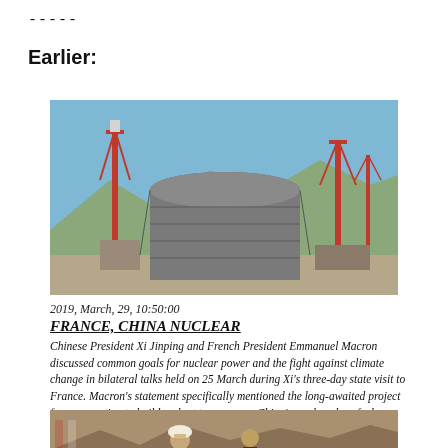-----
Earlier:
[Figure (photo): Nuclear power plant under construction with large cylindrical concrete structure and cranes against blue sky]
2019, March, 29, 10:50:00
FRANCE, CHINA NUCLEAR
Chinese President Xi Jinping and French President Emmanuel Macron discussed common goals for nuclear power and the fight against climate change in bilateral talks held on 25 March during Xi's three-day state visit to France. Macron's statement specifically mentioned the long-awaited project for cooperation to build a plant to reprocess China's used nuclear fuel.
[Figure (photo): Two men in traditional and formal attire at an outdoor location]